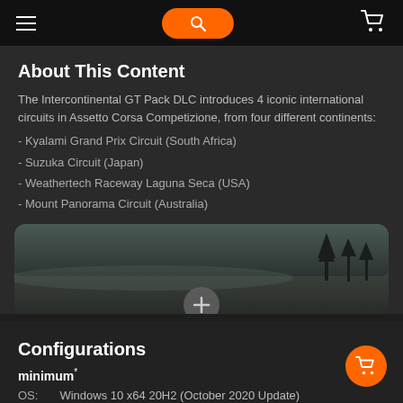navigation bar with hamburger menu, search button, and cart icon
About This Content
The Intercontinental GT Pack DLC introduces 4 iconic international circuits in Assetto Corsa Competizione, from four different continents:
- Kyalami Grand Prix Circuit (South Africa)
- Suzuka Circuit (Japan)
- Weathertech Raceway Laguna Seca (USA)
- Mount Panorama Circuit (Australia)
[Figure (photo): Dark scenic racing circuit environment photo with trees silhouetted in the background, and a plus (+) button overlay]
Configurations
minimum*
OS: Windows 10 x64 20H2 (October 2020 Update)